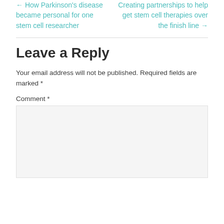← How Parkinson's disease became personal for one stem cell researcher
Creating partnerships to help get stem cell therapies over the finish line →
Leave a Reply
Your email address will not be published. Required fields are marked *
Comment *